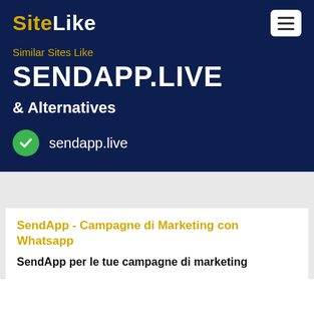SiteLike
Similar Sites Like
SENDAPP.LIVE
& Alternatives
sendapp.live
SendApp - Campagne di Marketing con Whatsapp
SendApp per le tue campagne di marketing